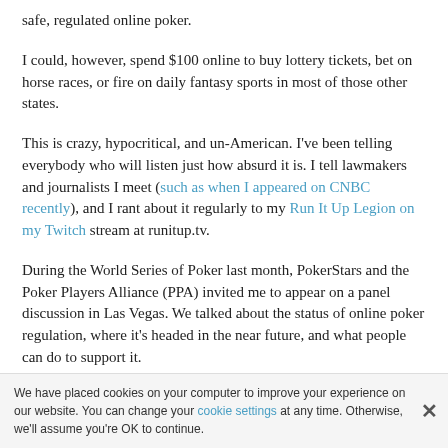safe, regulated online poker.
I could, however, spend $100 online to buy lottery tickets, bet on horse races, or fire on daily fantasy sports in most of those other states.
This is crazy, hypocritical, and un-American. I've been telling everybody who will listen just how absurd it is. I tell lawmakers and journalists I meet (such as when I appeared on CNBC recently), and I rant about it regularly to my Run It Up Legion on my Twitch stream at runitup.tv.
During the World Series of Poker last month, PokerStars and the Poker Players Alliance (PPA) invited me to appear on a panel discussion in Las Vegas. We talked about the status of online poker regulation, where it's headed in the near future, and what people can do to support it.
It was really encouraging to hear John Pappas, the executive director of the PPA, talk about real progress that's being made in many states, including California, New York, Michigan, and Pennsylvania. That progress is finally happening because the PPA, with support from PokerStars, is driving change. The PPA is educating lawmakers about online poker and explaining to them how regulation delivers badly needed protections to millions of Americans who a always playing on unregulated sites.
We have placed cookies on your computer to improve your experience on our website. You can change your cookie settings at any time. Otherwise, we'll assume you're OK to continue.